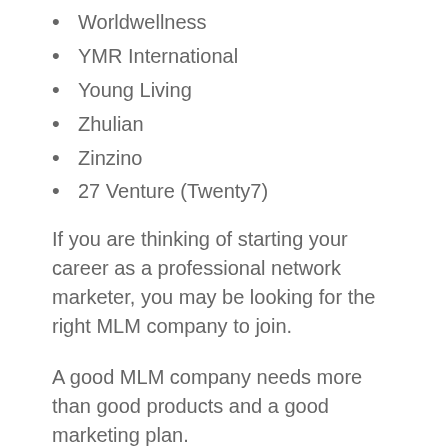Worldwellness
YMR International
Young Living
Zhulian
Zinzino
27 Venture (Twenty7)
If you are thinking of starting your career as a professional network marketer, you may be looking for the right MLM company to join.
A good MLM company needs more than good products and a good marketing plan.
It needs to have the essential pillars for success.